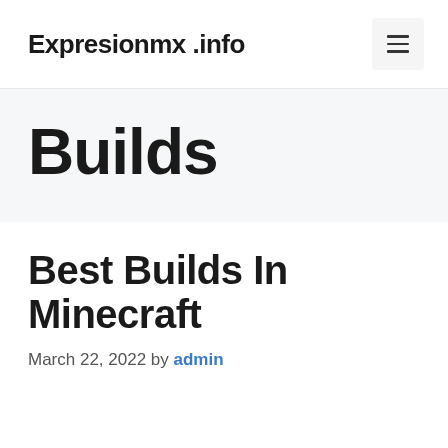Expresionmx .info
Builds
Best Builds In Minecraft
March 22, 2022 by admin